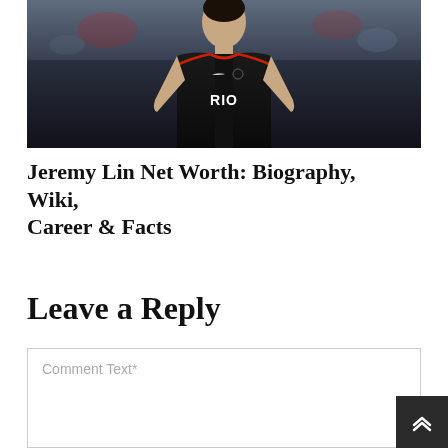[Figure (photo): Jeremy Lin in a Toronto Raptors black jersey with red trim, number visible, standing on a basketball court with blurred crowd in background]
Jeremy Lin Net Worth: Biography, Wiki, Career & Facts
Leave a Reply
Comment Text*